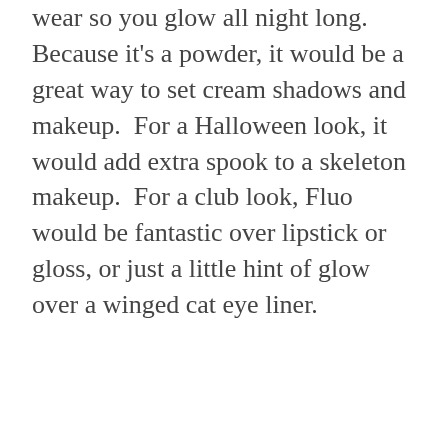wear so you glow all night long.  Because it's a powder, it would be a great way to set cream shadows and makeup.  For a Halloween look, it would add extra spook to a skeleton makeup.  For a club look, Fluo would be fantastic over lipstick or gloss, or just a little hint of glow over a winged cat eye liner.
A couple of things to keep in mind when using Fluo Night:  It is not glow in the dark.  It is black light, like
[Figure (photo): Broken/missing image placeholder with small image icon in top-left corner]